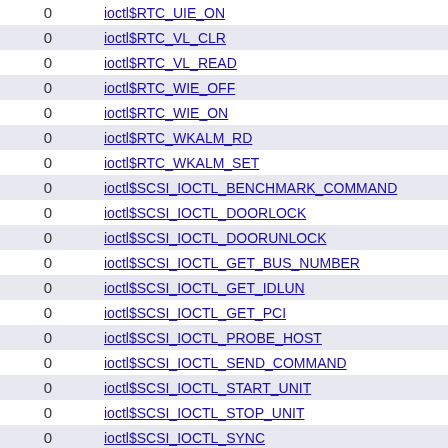|  |  |
| --- | --- |
| 0 | ioctl$RTC_UIE_ON |
| 0 | ioctl$RTC_VL_CLR |
| 0 | ioctl$RTC_VL_READ |
| 0 | ioctl$RTC_WIE_OFF |
| 0 | ioctl$RTC_WIE_ON |
| 0 | ioctl$RTC_WKALM_RD |
| 0 | ioctl$RTC_WKALM_SET |
| 0 | ioctl$SCSI_IOCTL_BENCHMARK_COMMAND |
| 0 | ioctl$SCSI_IOCTL_DOORLOCK |
| 0 | ioctl$SCSI_IOCTL_DOORUNLOCK |
| 0 | ioctl$SCSI_IOCTL_GET_BUS_NUMBER |
| 0 | ioctl$SCSI_IOCTL_GET_IDLUN |
| 0 | ioctl$SCSI_IOCTL_GET_PCI |
| 0 | ioctl$SCSI_IOCTL_PROBE_HOST |
| 0 | ioctl$SCSI_IOCTL_SEND_COMMAND |
| 0 | ioctl$SCSI_IOCTL_START_UNIT |
| 0 | ioctl$SCSI_IOCTL_STOP_UNIT |
| 0 | ioctl$SCSI_IOCTL_SYNC |
| 0 | ioctl$SCSI_IOCTL_TEST_UNIT_READY |
| 0 | bind$l2tp |
| 0 | ioctl$SECCOMP_IOCTL_NOTIF_ID_VALID |